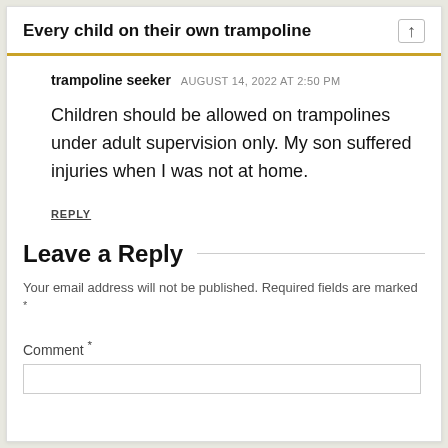Every child on their own trampoline
trampoline seeker  AUGUST 14, 2022 AT 2:50 PM
Children should be allowed on trampolines under adult supervision only. My son suffered injuries when I was not at home.
REPLY
Leave a Reply
Your email address will not be published. Required fields are marked *
Comment *